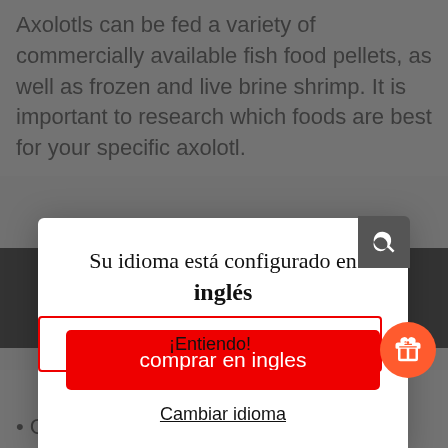Axolotls can be fed a variety of commercially available fish food pellets, as well as frozen and live brine shrimp. It is important to research which foods are best for your specific axolotl.
Su idioma está configurado en inglés
comprar en ingles
Cambiar idioma
🇪🇸 - USD ∨
¡Entiendo!
• GB